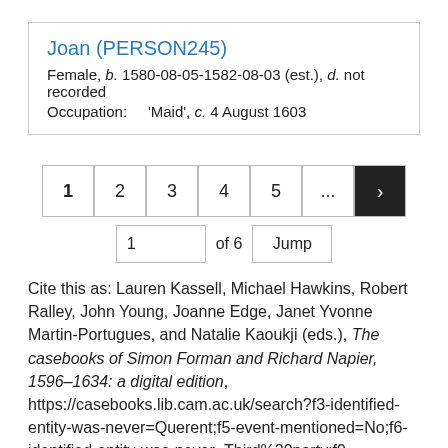Joan (PERSON245)
Female, b. 1580-08-05-1582-08-03 (est.), d. not recorded
Occupation: 'Maid', c. 4 August 1603
Pagination: 1 2 3 4 5 ... > | 1 of 6 Jump
Cite this as: Lauren Kassell, Michael Hawkins, Robert Ralley, John Young, Joanne Edge, Janet Yvonne Martin-Portugues, and Natalie Kaoukji (eds.), The casebooks of Simon Forman and Richard Napier, 1596–1634: a digital edition, https://casebooks.lib.cam.ac.uk/search?f3-identified-entity-was-never=Querent;f5-event-mentioned=No;f6-identified-entity-was-never=Third%20party;f9-occupation-mentioned=Yes;f10-